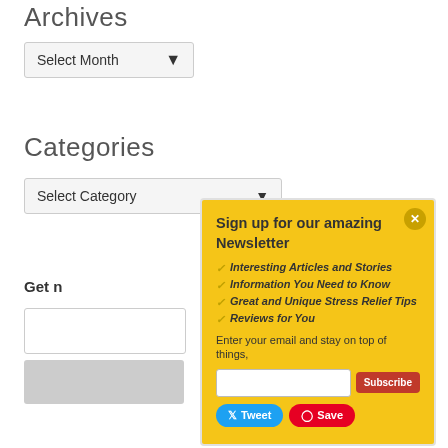Archives
[Figure (screenshot): Select Month dropdown widget]
Categories
[Figure (screenshot): Select Category dropdown widget]
Get n...
[Figure (infographic): Newsletter signup popup with yellow background. Title: Sign up for our amazing Newsletter. List items: Interesting Articles and Stories, Information You Need to Know, Great and Unique Stress Relief Tips, Reviews for You. Body: Enter your email and stay on top of things,. Email input field and Subscribe button. Tweet and Save social buttons.]